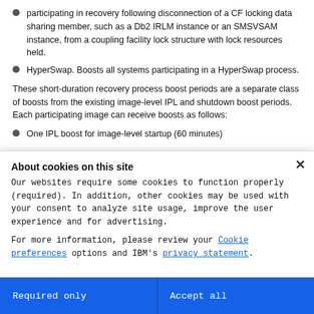participating in recovery following disconnection of a CF locking data sharing member, such as a Db2 IRLM instance or an SMSVSAM instance, from a coupling facility lock structure with lock resources held.
HyperSwap. Boosts all systems participating in a HyperSwap process.
These short-duration recovery process boost periods are a separate class of boosts from the existing image-level IPL and shutdown boost periods. Each participating image can receive boosts as follows:
One IPL boost for image-level startup (60 minutes)
About cookies on this site
Our websites require some cookies to function properly (required). In addition, other cookies may be used with your consent to analyze site usage, improve the user experience and for advertising.
For more information, please review your Cookie preferences options and IBM's privacy statement.
Required only
Accept all